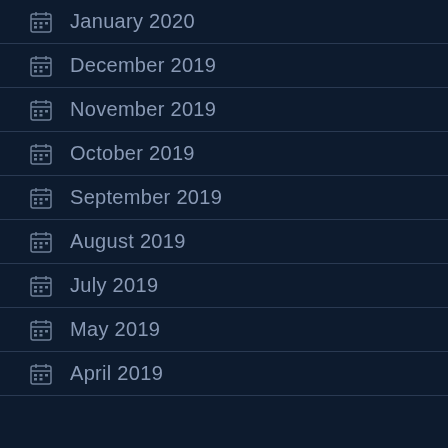January 2020
December 2019
November 2019
October 2019
September 2019
August 2019
July 2019
May 2019
April 2019